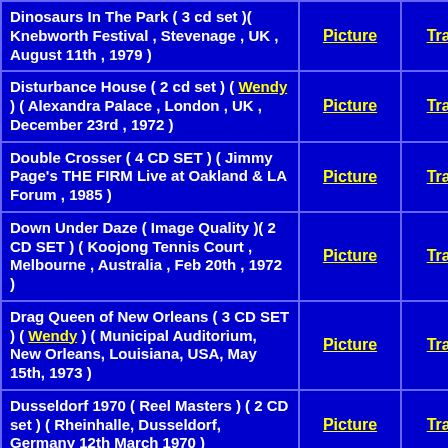| Title | Picture | Tracks |
| --- | --- | --- |
| Dinosaurs In The Park ( 3 cd set )( Knebworth Festival , Stevenage , UK , August 11th , 1979 ) | Picture | Tracks |
| Disturbance House ( 2 cd set ) ( Wendy ) ( Alexandra Palace , London , UK , December 23rd , 1972 ) | Picture | Tracks |
| Double Crosser ( 4 CD SET ) ( Jimmy Page's THE FIRM Live at Oakland & LA Forum , 1985 ) | Picture | Tracks |
| Down Under Daze ( Image Quality )( 2 CD SET ) ( Koojong Tennis Court , Melbourne , Australia , Feb 20th , 1972 ) | Picture | Tracks |
| Drag Queen of New Orleans ( 3 CD SET ) ( Wendy ) ( Municipal Auditorium, New Orleans, Louisiana, USA, May 15th, 1973 ) | Picture | Tracks |
| Dusseldorf 1970 ( Reel Masters ) ( 2 CD set ) ( Rheinhalle, Dusseldorf, Germany 12th March 1970 ) | Picture | Tracks |
| Early Careers ( 3 cd set ) ( Sil... | Picture | Tracks |